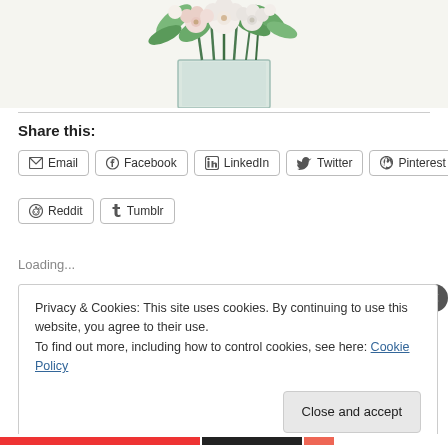[Figure (photo): Top portion of a floral arrangement in a glass vase with white/pink flowers and green foliage, cropped at the bottom of the image area.]
Share this:
Email | Facebook | LinkedIn | Twitter | Pinterest | Reddit | Tumblr
Loading...
Privacy & Cookies: This site uses cookies. By continuing to use this website, you agree to their use. To find out more, including how to control cookies, see here: Cookie Policy
Close and accept